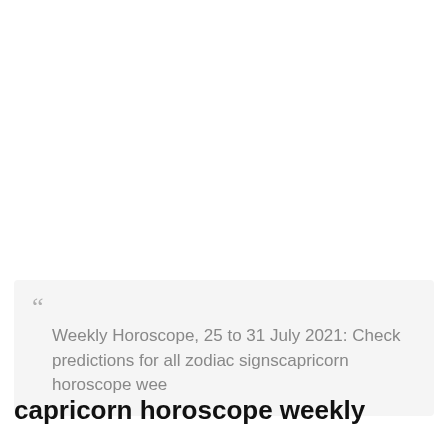" Weekly Horoscope, 25 to 31 July 2021: Check predictions for all zodiac signs–capricorn horoscope wee
capricorn horoscope weekly